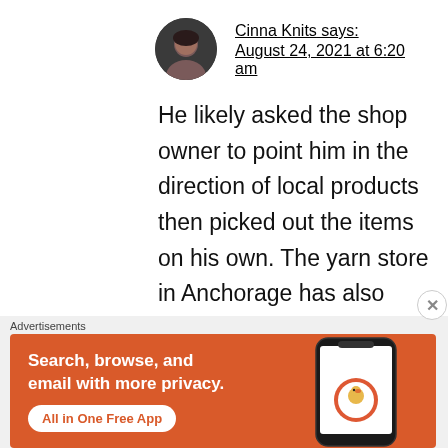Cinna Knits says: August 24, 2021 at 6:20 am
He likely asked the shop owner to point him in the direction of local products then picked out the items on his own. The yarn store in Anchorage has also recently moved, so the fact that he stumbled on its new location while out getting
Advertisements
[Figure (infographic): DuckDuckGo advertisement banner: orange background with white bold text 'Search, browse, and email with more privacy.' and white button 'All in One Free App', alongside a phone showing the DuckDuckGo app icon and brand name.]